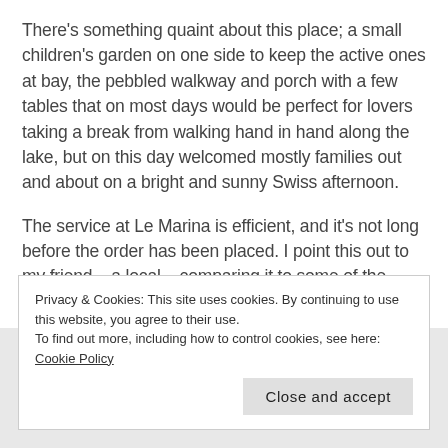There's something quaint about this place; a small children's garden on one side to keep the active ones at bay, the pebbled walkway and porch with a few tables that on most days would be perfect for lovers taking a break from walking hand in hand along the lake, but on this day welcomed mostly families out and about on a bright and sunny Swiss afternoon.
The service at Le Marina is efficient, and it's not long before the order has been placed. I point this out to my friend – a local – comparing it to some of the more laid back experiences we had at restaurants in Zermatt and Lauterbrunnen. She shrugs and then
Privacy & Cookies: This site uses cookies. By continuing to use this website, you agree to their use.
To find out more, including how to control cookies, see here: Cookie Policy
Close and accept